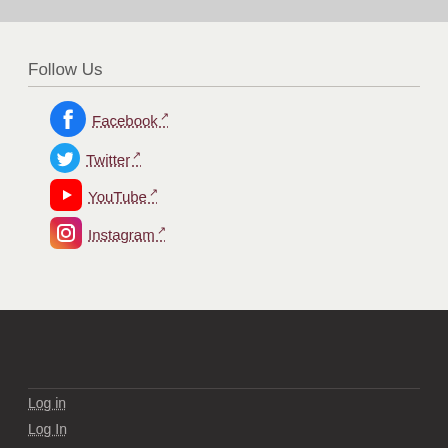Follow Us
Facebook (external link)
Twitter (external link)
YouTube (external link)
Instagram (external link)
Log in
Log In